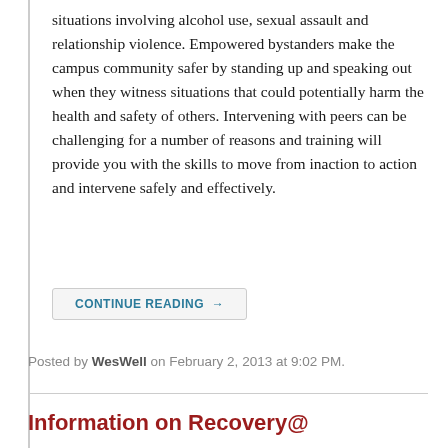situations involving alcohol use, sexual assault and relationship violence. Empowered bystanders make the campus community safer by standing up and speaking out when they witness situations that could potentially harm the health and safety of others. Intervening with peers can be challenging for a number of reasons and training will provide you with the skills to move from inaction to action and intervene safely and effectively.
CONTINUE READING →
Posted by WesWell on February 2, 2013 at 9:02 PM.
Information on Recovery@